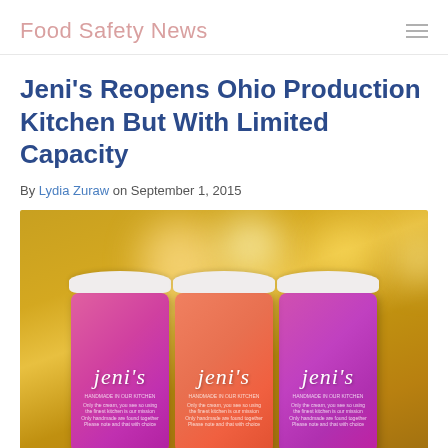Food Safety News
Jeni's Reopens Ohio Production Kitchen But With Limited Capacity
By Lydia Zuraw on September 1, 2015
[Figure (photo): Three Jeni's ice cream pints with white lids displayed against a warm golden bokeh background. Left pint is pink/magenta, center pint is orange/red, right pint is purple/magenta. Each pint has the Jeni's script logo in white.]